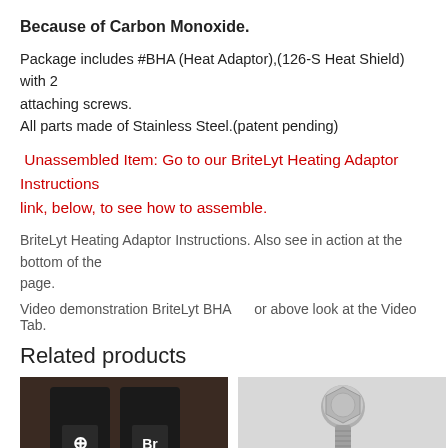Because of Carbon Monoxide.
Package includes #BHA (Heat Adaptor),(126-S Heat Shield) with 2 attaching screws.
All parts made of Stainless Steel.(patent pending)
Unassembled Item: Go to our BriteLyt Heating Adaptor Instructions link, below, to see how to assemble.
BriteLyt Heating Adaptor Instructions. Also see in action at the bottom of the page.
Video demonstration BriteLyt BHA    or above look at the Video Tab.
Related products
[Figure (photo): Two black BriteLyt lantern cases with logos visible]
[Figure (photo): Metal screws on a light gray background]